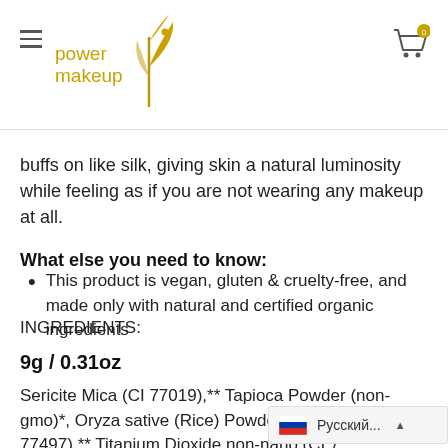power makeup [logo with hamburger menu and cart icon]
buffs on like silk, giving skin a natural luminosity while feeling as if you are not wearing any makeup at all.
What else you need to know:
This product is vegan, gluten & cruelty-free, and made only with natural and certified organic ingredients
INGREDIENTS:
9g / 0.31oz
Sericite Mica (CI 77019),** Tapioca Powder (non-gmo)*, Oryza sative (Rice) Powder**, Zinc Oxide n... 77497),** Titanium Dioxide non-nano (CI 77891), Zinc ...